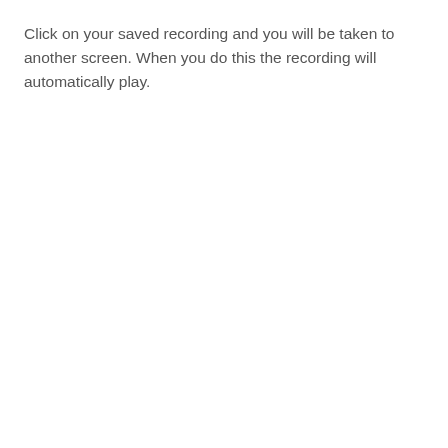Click on your saved recording and you will be taken to another screen. When you do this the recording will automatically play.